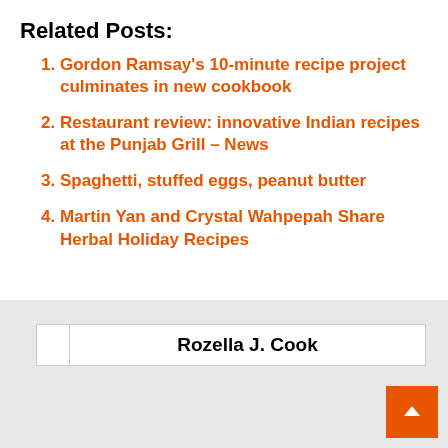Related Posts:
Gordon Ramsay's 10-minute recipe project culminates in new cookbook
Restaurant review: innovative Indian recipes at the Punjab Grill – News
Spaghetti, stuffed eggs, peanut butter
Martin Yan and Crystal Wahpepah Share Herbal Holiday Recipes
Rozella J. Cook